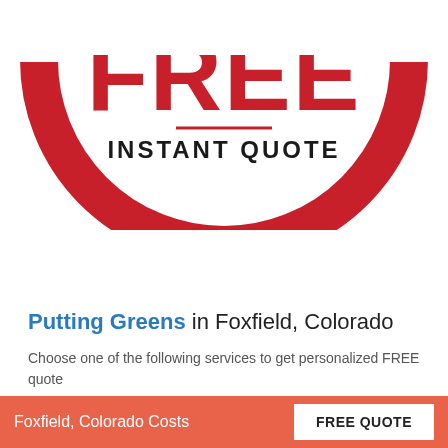[Figure (logo): Circular red logo with large bold red text 'FREE' at top, black bold text 'INSTANT QUOTE' below, a red underline beneath, and a thick red circular arc forming a smile/circle shape around the text.]
Putting Greens in Foxfield, Colorado
Choose one of the following services to get personalized FREE quote
Residential Putting Greens
Foxfield, Colorado Costs   FREE QUOTE